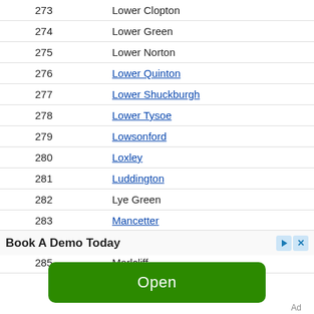| # | Name |
| --- | --- |
| 273 | Lower Clopton |
| 274 | Lower Green |
| 275 | Lower Norton |
| 276 | Lower Quinton |
| 277 | Lower Shuckburgh |
| 278 | Lower Tysoe |
| 279 | Lowsonford |
| 280 | Loxley |
| 281 | Luddington |
| 282 | Lye Green |
| 283 | Mancetter |
| 284 | Mappleborough Green |
| 285 | Marlcliff |
Book A Demo Today
[Figure (other): Green Open button advertisement]